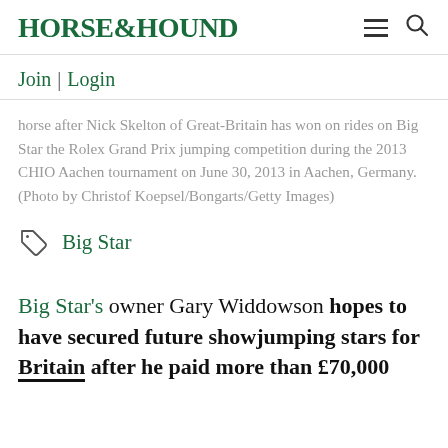HORSE&HOUND
Join | Login
horse after Nick Skelton of Great-Britain has won on rides on Big Star the Rolex Grand Prix jumping competition during the 2013 CHIO Aachen tournament on June 30, 2013 in Aachen, Germany. (Photo by Christof Koepsel/Bongarts/Getty Images)
Big Star
Big Star's owner Gary Widdowson hopes to have secured future showjumping stars for Britain after he paid more than £70,000